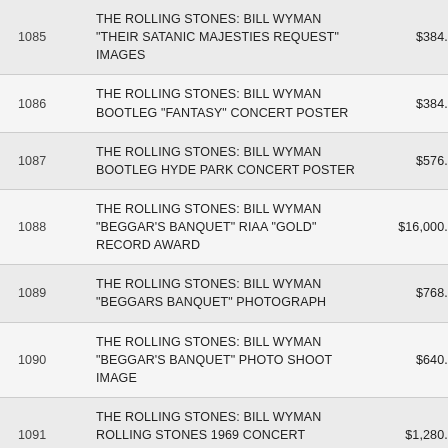| Lot | Description | Price |
| --- | --- | --- |
| 1085 | THE ROLLING STONES: BILL WYMAN "THEIR SATANIC MAJESTIES REQUEST" IMAGES | $384.00 |
| 1086 | THE ROLLING STONES: BILL WYMAN BOOTLEG "FANTASY" CONCERT POSTER | $384.00 |
| 1087 | THE ROLLING STONES: BILL WYMAN BOOTLEG HYDE PARK CONCERT POSTER | $576.00 |
| 1088 | THE ROLLING STONES: BILL WYMAN "BEGGAR'S BANQUET" RIAA "GOLD" RECORD AWARD | $16,000.00 |
| 1089 | THE ROLLING STONES: BILL WYMAN "BEGGARS BANQUET" PHOTOGRAPH | $768.00 |
| 1090 | THE ROLLING STONES: BILL WYMAN "BEGGAR'S BANQUET" PHOTO SHOOT IMAGE | $640.00 |
| 1091 | THE ROLLING STONES: BILL WYMAN ROLLING STONES 1969 CONCERT POSTER | $1,280.00 |
| 1092 | THE ROLLING STONES: BILL WYMAN "THROUGH THE PAST DARKLY" PHOTOGRAPHS | $384.00 |
| 1093 | THE ROLLING STONES: BILL WYMAN "JUMPIN' |  |